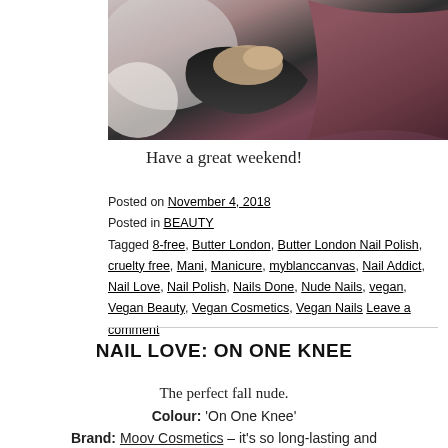[Figure (photo): Photo of a hand wearing dark fuzzy sleeve cuff holding or near a dark mauve/burgundy fabric, partial view, cropped]
Have a great weekend!
Posted on November 4, 2018
Posted in BEAUTY
Tagged 8-free, Butter London, Butter London Nail Polish, cruelty free, Mani, Manicure, myblanccanvas, Nail Addict, Nail Love, Nail Polish, Nails Done, Nude Nails, vegan, Vegan Beauty, Vegan Cosmetics, Vegan Nails Leave a comment
NAIL LOVE: ON ONE KNEE
The perfect fall nude.
Colour: 'On One Knee'
Brand: Moov Cosmetics – it's so long-lasting and